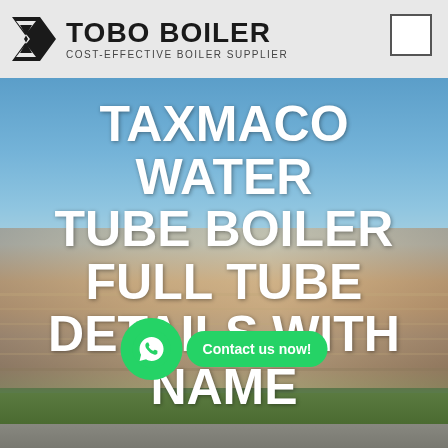[Figure (logo): TOBO BOILER logo with geometric icon and tagline COST-EFFECTIVE BOILER SUPPLIER]
[Figure (photo): Industrial building/factory exterior with blue sky background, overlaid with large white text reading TAXMACO WATER TUBE BOILER FULL TUBE DETAILS WITH NAME, and a WhatsApp contact button]